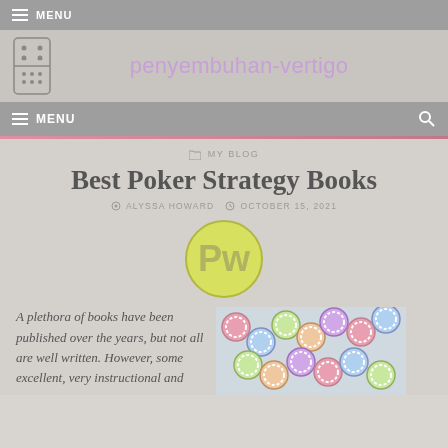MENU
penyembuhan-vertigo
MENU
MY BLOG
Best Poker Strategy Books
ALYSSA HOWARD   OCTOBER 15, 2021
[Figure (logo): PW circular logo in yellow/green with stylized PW letters]
A plethora of books have been published over the years, but not all are well written. However, some excellent, very instructional and
[Figure (photo): Colorful poker chips scattered together]